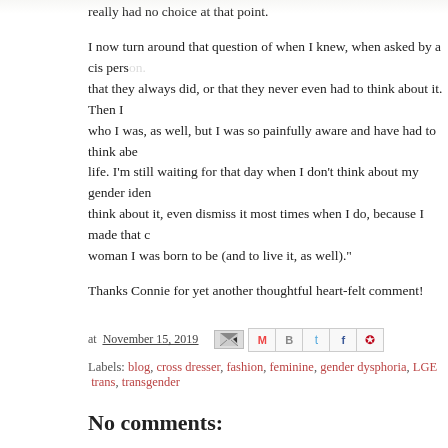really had no choice at that point.
I now turn around that question of when I knew, when asked by a cis person. They always did, or that they never even had to think about it. Then I who I was, as well, but I was so painfully aware and have had to think about life. I'm still waiting for that day when I don't think about my gender identity think about it, even dismiss it most times when I do, because I made that woman I was born to be (and to live it, as well)."
Thanks Connie for yet another thoughtful heart-felt comment!
at November 15, 2019
Labels: blog, cross dresser, fashion, feminine, gender dysphoria, LGB trans, transgender
No comments:
Post a Comment
Enter Comment